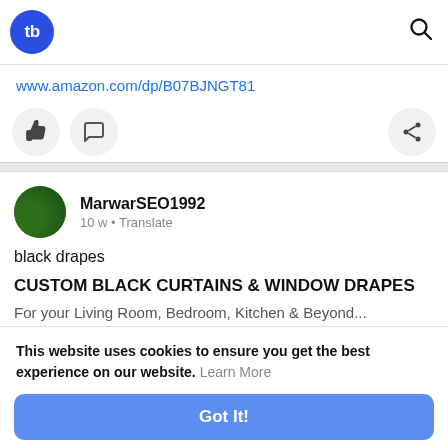tb [logo] [search icon]
www.amazon.com/dp/B07BJNGT81
[Figure (screenshot): Action buttons: thumbs up, comment bubble, share icon]
MarwarSEO1992
10 w • Translate
black drapes
CUSTOM BLACK CURTAINS & WINDOW DRAPES
For your Living Room, Bedroom, Kitchen & Beyond...
This website uses cookies to ensure you get the best experience on our website. Learn More
Got It!